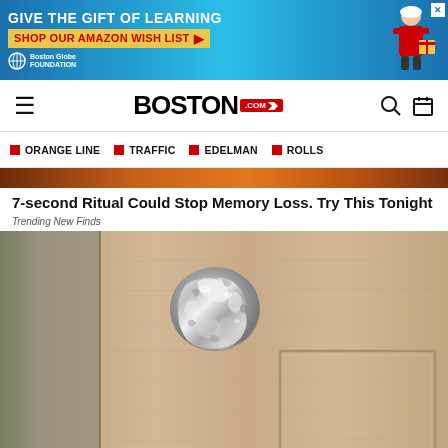[Figure (screenshot): Advertisement banner for Boston Globe Foundation: 'GIVE THE GIFT OF LEARNING / SHOP OUR AMAZON WISH LIST' with red arrow, Boston Globe Foundation logo, and illustrated character with gift]
BOSTON.com
ORANGE LINE
TRAFFIC
EDELMAN
ROLLS
[Figure (photo): Partial orange/brown background image strip]
7-second Ritual Could Stop Memory Loss. Try This Tonight
Trending New Finds
[Figure (photo): Close-up photo of a door knob wrapped in crumpled aluminum foil, on a light brown wooden door]